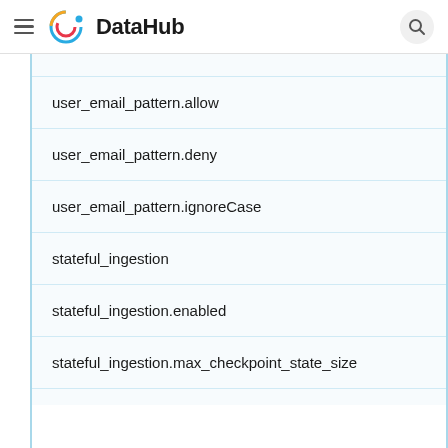DataHub
user_email_pattern.allow
user_email_pattern.deny
user_email_pattern.ignoreCase
stateful_ingestion
stateful_ingestion.enabled
stateful_ingestion.max_checkpoint_state_size